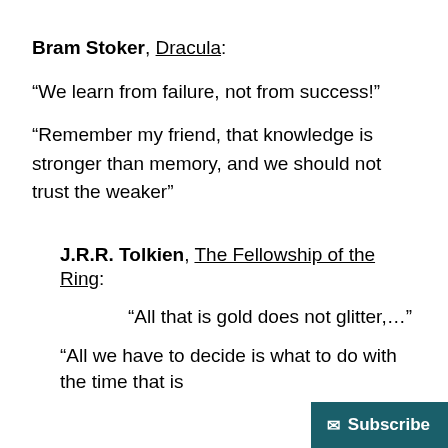Bram Stoker, Dracula:
“We learn from failure, not from success!”
“Remember my friend, that knowledge is stronger than memory, and we should not trust the weaker”
J.R.R. Tolkien, The Fellowship of the Ring:
“All that is gold does not glitter,…”
“All we have to decide is what to do with the time that is